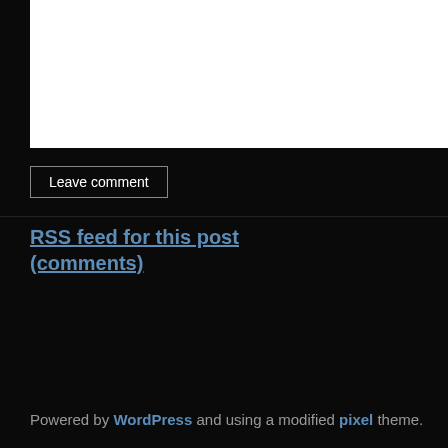[Figure (screenshot): White text area / comment input box area at top of page]
Leave comment
RSS feed for this post (comments)
Powered by WordPress and using a modified pixel theme.